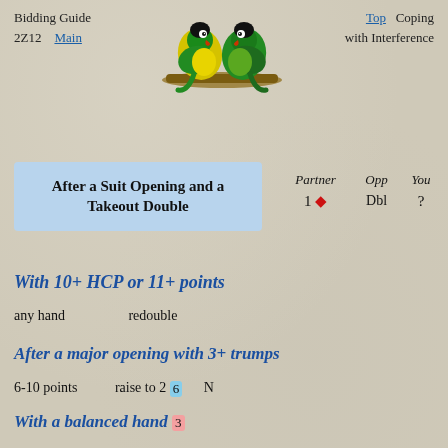Bidding Guide 2Z12  Main  Top  Coping with Interference
[Figure (photo): Two lovebirds (parrots) perched on a branch, one yellow-green and one green, facing each other]
After a Suit Opening and a Takeout Double  Partner 1♦  Opp Dbl  You ?
With 10+ HCP or 11+ points
any hand    redouble
After a major opening with 3+ trumps
6-10 points    raise to 2 [6]   N
With a balanced hand [3]